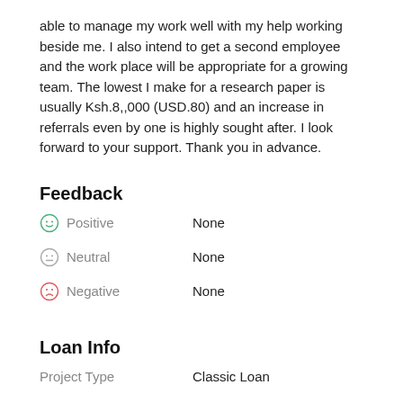able to manage my work well with my help working beside me. I also intend to get a second employee and the work place will be appropriate for a growing team. The lowest I make for a research paper is usually Ksh.8,,000 (USD.80) and an increase in referrals even by one is highly sought after. I look forward to your support. Thank you in advance.
Feedback
Positive   None
Neutral   None
Negative   None
Loan Info
Project Type   Classic Loan
Disbursed amount   $363.00